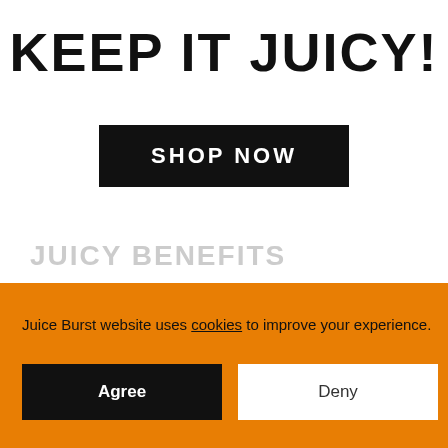KEEP IT JUICY!
SHOP NOW
JUICY BENEFITS
Juice Burst website uses cookies to improve your experience.
Agree
Deny